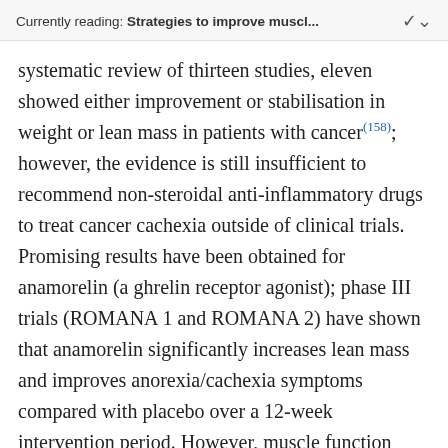Currently reading: Strategies to improve muscl...
systematic review of thirteen studies, eleven showed either improvement or stabilisation in weight or lean mass in patients with cancer(158); however, the evidence is still insufficient to recommend non-steroidal anti-inflammatory drugs to treat cancer cachexia outside of clinical trials. Promising results have been obtained for anamorelin (a ghrelin receptor agonist); phase III trials (ROMANA 1 and ROMANA 2) have shown that anamorelin significantly increases lean mass and improves anorexia/cachexia symptoms compared with placebo over a 12-week intervention period. However, muscle function (measured by hand grip strength) failed to improve during the intervention(159). Food and drug administration regulators generally require improvements in lean mass and functional outcomes as co-primary endpoints for the approval of new